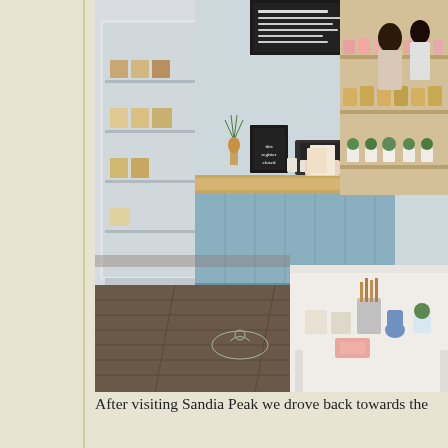[Figure (photo): Interior of a cafe/gift shop showing a blue-paneled service counter with staff behind it, display shelving with products, plants, jars and retail items on tables. The floor is dark wood. A social distancing marker circle is visible on the floor. Bottom right shows a white table with candles, succulents, and decorative items.]
After visiting Sandia Peak we drove back towards the